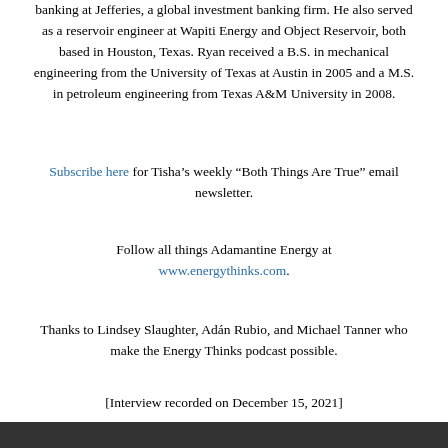banking at Jefferies, a global investment banking firm. He also served as a reservoir engineer at Wapiti Energy and Object Reservoir, both based in Houston, Texas. Ryan received a B.S. in mechanical engineering from the University of Texas at Austin in 2005 and a M.S. in petroleum engineering from Texas A&M University in 2008.
Subscribe here for Tisha’s weekly “Both Things Are True” email newsletter.
Follow all things Adamantine Energy at www.energythinks.com.
Thanks to Lindsey Slaughter, Adán Rubio, and Michael Tanner who make the Energy Thinks podcast possible.
[Interview recorded on December 15, 2021]